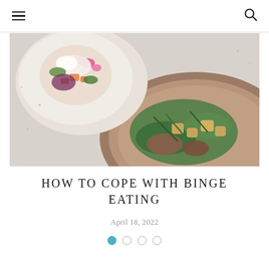Navigation header with hamburger menu and search icon
[Figure (photo): Overhead shot of two ceramic plates with gourmet food — one small plate with colorful salad including pink and green vegetables, one large brown speckled plate with greens, roasted vegetables, and meat pieces]
HOW TO COPE WITH BINGE EATING
April 18, 2022
Carousel dots: 1 active (teal), 3 inactive